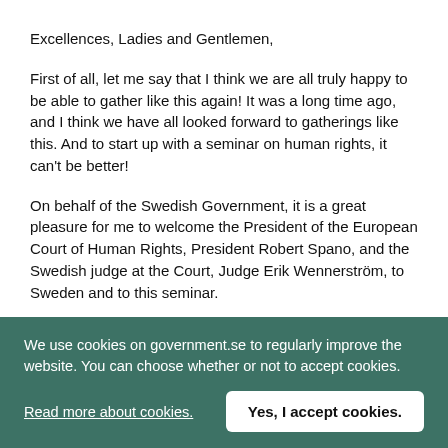Excellences, Ladies and Gentlemen,
First of all, let me say that I think we are all truly happy to be able to gather like this again! It was a long time ago, and I think we have all looked forward to gatherings like this. And to start up with a seminar on human rights, it can't be better!
On behalf of the Swedish Government, it is a great pleasure for me to welcome the President of the European Court of Human Rights, President Robert Spano, and the Swedish judge at the Court, Judge Erik Wennerström, to Sweden and to this seminar.
Also, a special welcome to the other panellist members, the President of the Swedish Supreme Court, Justice Anders Eka, and the President of the Swedish Supreme Administrative
We use cookies on government.se to regularly improve the website. You can choose whether or not to accept cookies.
Read more about cookies.
Yes, I accept cookies.